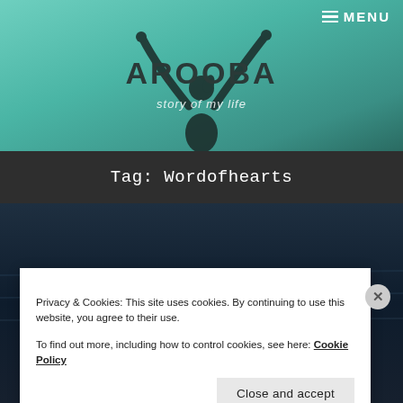[Figure (photo): Hero section with teal/green gradient background and silhouette of person with arms raised in celebration]
≡ MENU
AROOBA
story of my life
Tag: Wordofhearts
[Figure (photo): Dark blue/navy background image, possibly sky or water, with partial bold white text 'FLOATING STICK']
Privacy & Cookies: This site uses cookies. By continuing to use this website, you agree to their use.
To find out more, including how to control cookies, see here: Cookie Policy
Close and accept